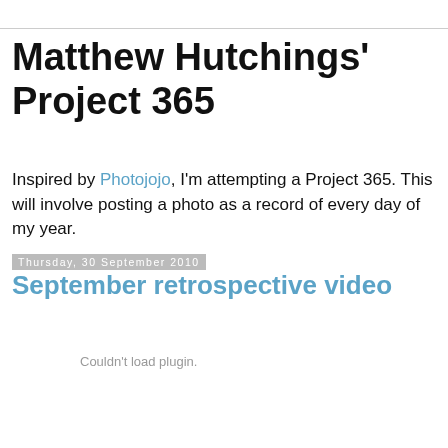Matthew Hutchings' Project 365
Inspired by Photojojo, I'm attempting a Project 365. This will involve posting a photo as a record of every day of my year.
Thursday, 30 September 2010
September retrospective video
Couldn't load plugin.